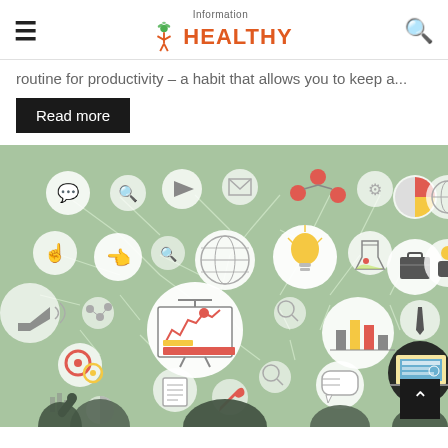Information Healthy
routine for productivity – a habit that allows you to keep a...
Read more
[Figure (infographic): Business and information infographic on a sage green background. Connected circles contain various icons: speech bubble, magnifier, play button, envelope, molecule/network, gear/settings, pie chart, globe, hand/cursor, globe, light bulb, lab flask, briefcase, business person, megaphone, dots, presentation board with chart, magnifier, bar chart, tie/person, laptop, gears, magnifier, speech bubble, document, wrench, and silhouettes of people at the bottom.]